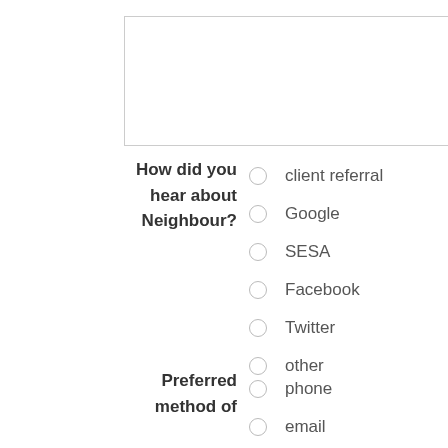[text area / input box]
How did you hear about Neighbour? [radio options: client referral, Google, SESA, Facebook, Twitter, other]
Preferred method of [radio options: phone, email]